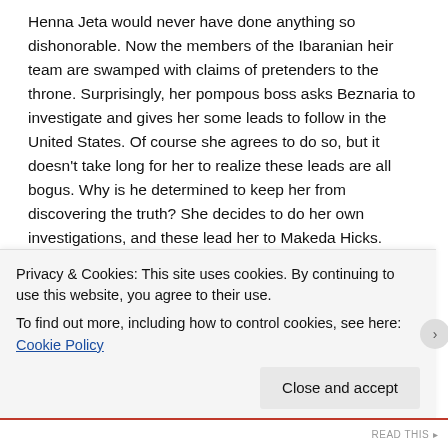Henna Jeta would never have done anything so dishonorable. Now the members of the Ibaranian heir team are swamped with claims of pretenders to the throne. Surprisingly, her pompous boss asks Beznaria to investigate and gives her some leads to follow in the United States. Of course she agrees to do so, but it doesn't take long for her to realize these leads are all bogus. Why is he determined to keep her from discovering the truth? She decides to do her own investigations, and these lead her to Makeda Hicks.
Makeda's first impression of Bez is far from favorable, especially as the investigator broke into the house and snuck up on her while vacuuming. It becomes even less so when
Privacy & Cookies: This site uses cookies. By continuing to use this website, you agree to their use.
To find out more, including how to control cookies, see here: Cookie Policy
Close and accept